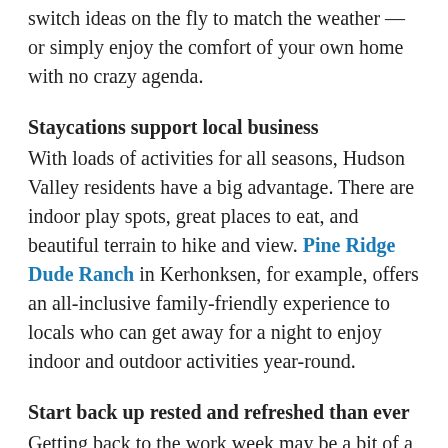switch ideas on the fly to match the weather — or simply enjoy the comfort of your own home with no crazy agenda.
Staycations support local business
With loads of activities for all seasons, Hudson Valley residents have a big advantage. There are indoor play spots, great places to eat, and beautiful terrain to hike and view. Pine Ridge Dude Ranch in Kerhonksen, for example, offers an all-inclusive family-friendly experience to locals who can get away for a night to enjoy indoor and outdoor activities year-round.
Start back up rested and refreshed than ever
Getting back to the work week may be a bit of a bummer, but it's easier to step into the swing of things after relaxing, resting, and catching up on fun.
Consider a local staycation: a win for everyone
The Hudson Valley is a destination with much to offer families. Enjoy your well-earned time off to the fullest